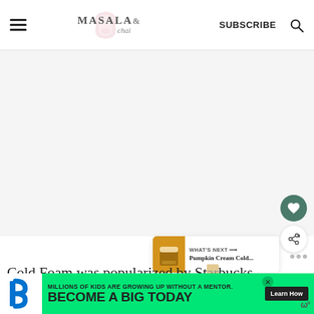MASALA & chai — SUBSCRIBE
[Figure (photo): Large food/beverage image placeholder area (light gray background)]
Cold Foam was popularized by Starbucks in the United States in the recent years and has now become a fo...
[Figure (infographic): Advertisement banner: Big Brothers Big Sisters - MILLIONS OF KIDS ARE GROWING UP WITHOUT A MENTOR. BECOME A BIG TODAY. Learn How.]